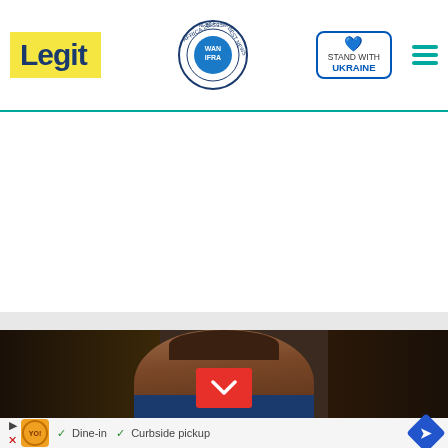Legit - Best News Website in Africa 2021 (WAN-IFRA) | Stand with Ukraine
[Figure (photo): Woman speaking at a podium or press conference, dark background, partial view cropped]
[Figure (other): Advertisement banner: orange logo, Dine-in, Curbside pickup, blue navigation arrow]